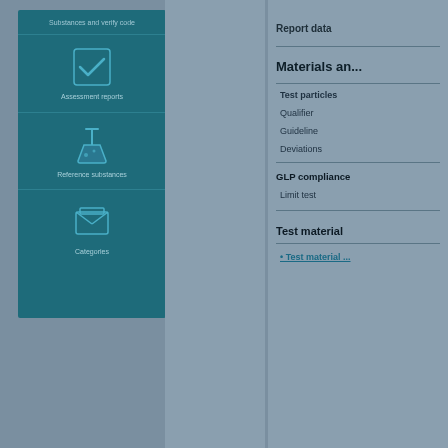[Figure (infographic): Dark teal navigation panel with three sections: 'Substances and verify code' at top with checkmark icon and 'Assessment reports' label, a flask/beaker icon with 'Reference substances' label, and an envelope/box icon with 'Categories' label]
Report data
Materials and ...
Test particles
Qualifier
Guideline
Deviations
GLP compliance
Limit test
Test material
Test material ...